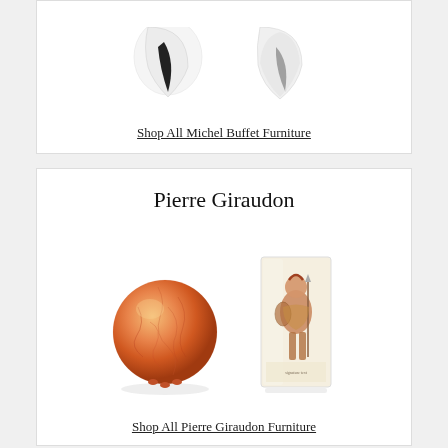[Figure (photo): Two white abstract sculptural furniture pieces by Michel Buffet, photographed from above, partially cropped at top of page]
Shop All Michel Buffet Furniture
Pierre Giraudon
[Figure (photo): Two Pierre Giraudon items: an orange/amber crackle resin sphere on small feet, and a rectangular clear resin block with an antique warrior figure inside]
Shop All Pierre Giraudon Furniture